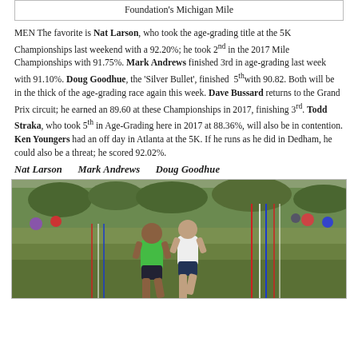Foundation's Michigan Mile
MEN The favorite is Nat Larson, who took the age-grading title at the 5K Championships last weekend with a 92.20%; he took 2nd in the 2017 Mile Championships with 91.75%. Mark Andrews finished 3rd in age-grading last week with 91.10%. Doug Goodhue, the 'Silver Bullet', finished 5th with 90.82. Both will be in the thick of the age-grading race again this week. Dave Bussard returns to the Grand Prix circuit; he earned an 89.60 at these Championships in 2017, finishing 3rd. Todd Straka, who took 5th in Age-Grading here in 2017 at 88.36%, will also be in contention. Ken Youngers had an off day in Atlanta at the 5K. If he runs as he did in Dedham, he could also be a threat; he scored 92.02%.
Nat Larson    Mark Andrews    Doug Goodhue
[Figure (photo): Two runners competing in a cross country race on a grassy field, one in a green singlet and one in white, with red/white/blue finish line tape visible in the background along with spectators and trees.]